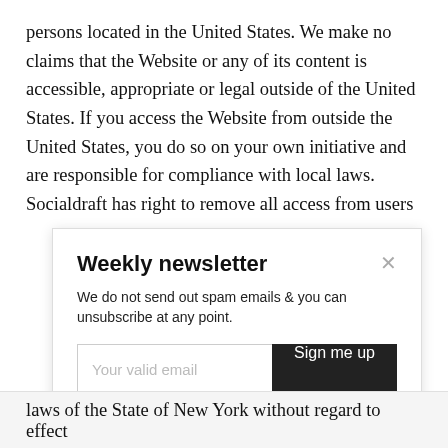persons located in the United States. We make no claims that the Website or any of its content is accessible, appropriate or legal outside of the United States. If you access the Website from outside the United States, you do so on your own initiative and are responsible for compliance with local laws. Socialdraft has right to remove all access from users
Weekly newsletter
We do not send out spam emails & you can unsubscribe at any point.
by Popify
laws of the State of New York without regard to effect